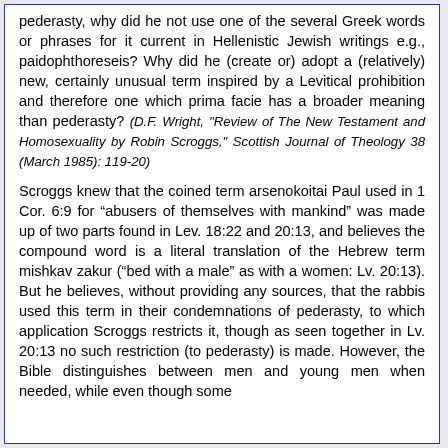pederasty, why did he not use one of the several Greek words or phrases for it current in Hellenistic Jewish writings e.g., paidophthoreseis? Why did he (create or) adopt a (relatively) new, certainly unusual term inspired by a Levitical prohibition and therefore one which prima facie has a broader meaning than pederasty? (D.F. Wright, "Review of The New Testament and Homosexuality by Robin Scroggs," Scottish Journal of Theology 38 (March 1985): 119-20)
Scroggs knew that the coined term arsenokoitai Paul used in 1 Cor. 6:9 for “abusers of themselves with mankind” was made up of two parts found in Lev. 18:22 and 20:13, and believes the compound word is a literal translation of the Hebrew term mishkav zakur (“bed with a male” as with a women: Lv. 20:13). But he believes, without providing any sources, that the rabbis used this term in their condemnations of pederasty, to which application Scroggs restricts it, though as seen together in Lv. 20:13 no such restriction (to pederasty) is made. However, the Bible distinguishes between men and young men when needed, while even though some